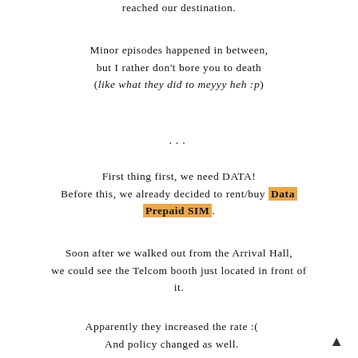reached our destination.
Minor episodes happened in between, but I rather don't bore you to death (like what they did to meyyy heh :p)
...
First thing first, we need DATA! Before this, we already decided to rent/buy Data Prepaid SIM.
Soon after we walked out from the Arrival Hall, we could see the Telcom booth just located in front of it.
Apparently they increased the rate :( And policy changed as well.